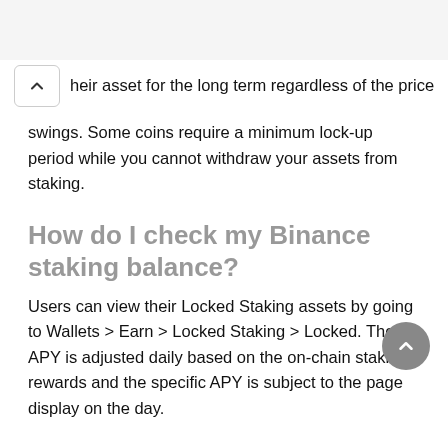heir asset for the long term regardless of the price swings. Some coins require a minimum lock-up period while you cannot withdraw your assets from staking.
How do I check my Binance staking balance?
Users can view their Locked Staking assets by going to Wallets > Earn > Locked Staking > Locked. The APY is adjusted daily based on the on-chain staking rewards and the specific APY is subject to the page display on the day.
Can you lose money staking on Binance?
Without compounding, users can lose out on an exponential amount of returns over time. The Auto-Subscription feature b...